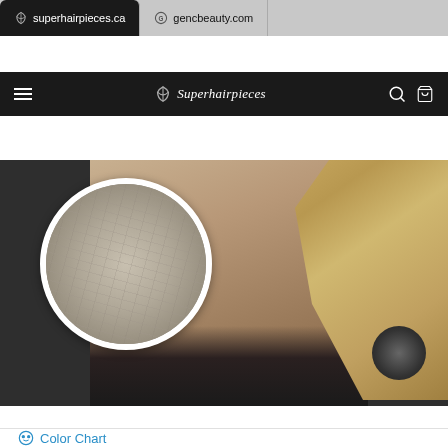[Figure (screenshot): Browser tab bar showing two tabs: superhairpieces.ca (active, dark) and gencbeauty.com]
[Figure (screenshot): Superhairpieces website header with hamburger menu, logo, search and cart icons on black background]
[Figure (photo): Main product image showing woman wearing hair piece from neck up, with a circular zoom showing the cap/base construction detail]
[Figure (photo): Thumbnail strip with 5 product thumbnails and navigation arrows: Nicole hair piece front view, model with product card, and three circular base construction diagrams]
Color Chart